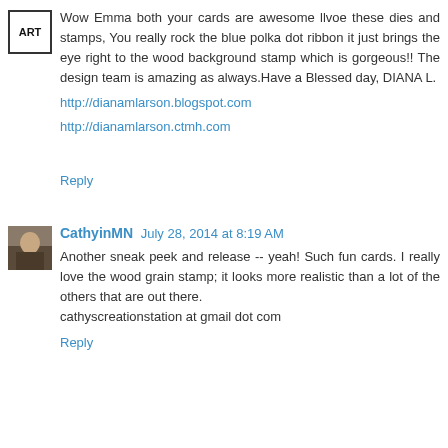[Figure (logo): Small ART logo placeholder image]
Wow Emma both your cards are awesome llvoe these dies and stamps, You really rock the blue polka dot ribbon it just brings the eye right to the wood background stamp which is gorgeous!! The design team is amazing as always.Have a Blessed day, DIANA L.
http://dianamlarson.blogspot.com
http://dianamlarson.ctmh.com
Reply
[Figure (photo): Profile photo of CathyinMN]
CathyinMN July 28, 2014 at 8:19 AM
Another sneak peek and release -- yeah! Such fun cards. I really love the wood grain stamp; it looks more realistic than a lot of the others that are out there.
cathyscreationstation at gmail dot com
Reply